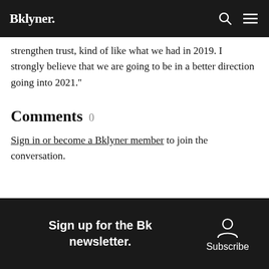Bklyner.
strengthen trust, kind of like what we had in 2019. I strongly believe that we are going to be in a better direction going into 2021.''
Comments 0
Sign in or become a Bklyner member to join the conversation.
Sign up for the Bklyner newsletter. Subscribe